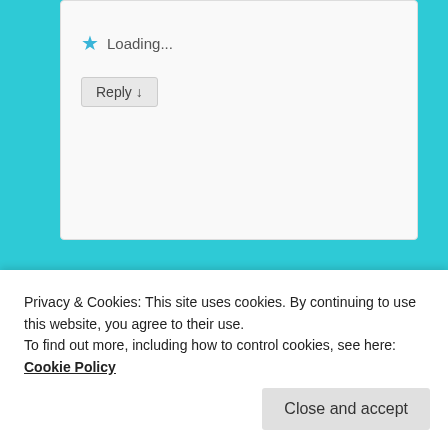Loading...
Reply ↓
shelley Hallman on February 19, 2014 at 9:47 pm
said:
I believe I understand the basic concept you are
Privacy & Cookies: This site uses cookies. By continuing to use this website, you agree to their use. To find out more, including how to control cookies, see here: Cookie Policy
Close and accept